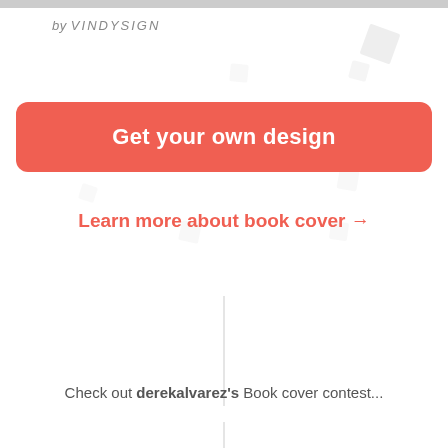by VINDYSIGN
Get your own design
Learn more about book cover →
Check out derekalvarez's Book cover contest...